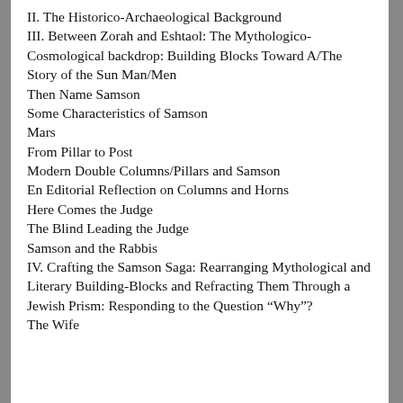II. The Historico-Archaeological Background
III. Between Zorah and Eshtaol: The Mythologico-Cosmological backdrop: Building Blocks Toward A/The Story of the Sun Man/Men
Then Name Samson
Some Characteristics of Samson
Mars
From Pillar to Post
Modern Double Columns/Pillars and Samson
En Editorial Reflection on Columns and Horns
Here Comes the Judge
The Blind Leading the Judge
Samson and the Rabbis
IV. Crafting the Samson Saga: Rearranging Mythological and Literary Building-Blocks and Refracting Them Through a Jewish Prism: Responding to the Question “Why”?
The Wife